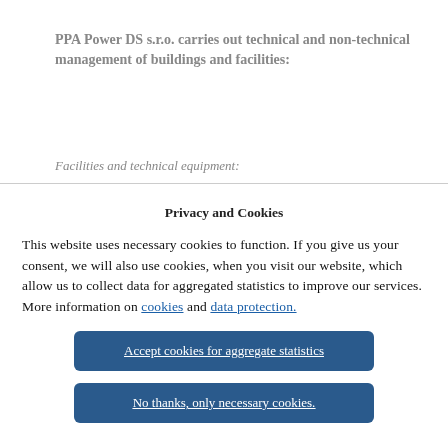PPA Power DS s.r.o. carries out technical and non-technical management of buildings and facilities:
Facilities and technical equipment:
Privacy and Cookies
This website uses necessary cookies to function. If you give us your consent, we will also use cookies, when you visit our website, which allow us to collect data for aggregated statistics to improve our services. More information on cookies and data protection.
Accept cookies for aggregate statistics
No thanks, only necessary cookies.